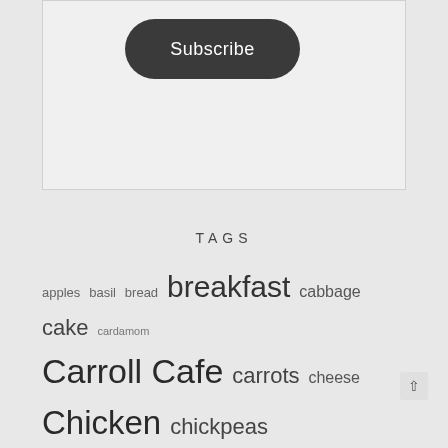[Figure (other): Subscribe button widget — dark rounded rectangle button with white text 'Subscribe' inside a light gray bordered box]
TAGS
apples basil bread breakfast cabbage cake cardamom Carroll Cafe carrots cheese Chicken chickpeas chocolate cilantro cinnamon coconut cookies cupcakes dessert eggs feta ginger kale lemon lentils lime oatmeal oats pasta peanut butter pecans potatoes pumpkin quinoa salad salad dressing snacks soup spinach